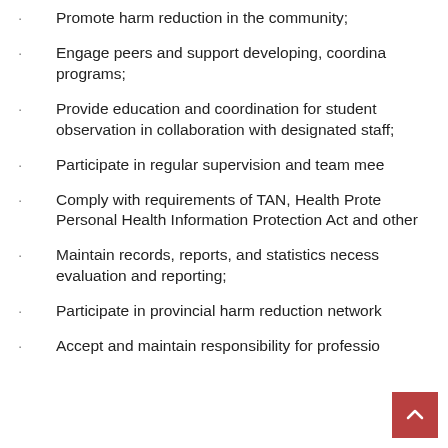Promote harm reduction in the community;
Engage peers and support developing, coordina programs;
Provide education and coordination for student observation in collaboration with designated staff;
Participate in regular supervision and team mee
Comply with requirements of TAN, Health Prote Personal Health Information Protection Act and other
Maintain records, reports, and statistics necess evaluation and reporting;
Participate in provincial harm reduction network
Accept and maintain responsibility for professio